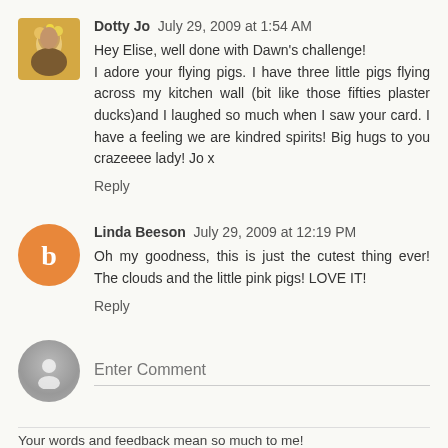Dotty Jo  July 29, 2009 at 1:54 AM
Hey Elise, well done with Dawn's challenge! I adore your flying pigs. I have three little pigs flying across my kitchen wall (bit like those fifties plaster ducks)and I laughed so much when I saw your card. I have a feeling we are kindred spirits! Big hugs to you crazeeee lady! Jo x
Reply
Linda Beeson  July 29, 2009 at 12:19 PM
Oh my goodness, this is just the cutest thing ever! The clouds and the little pink pigs! LOVE IT!
Reply
Enter Comment
Your words and feedback mean so much to me!